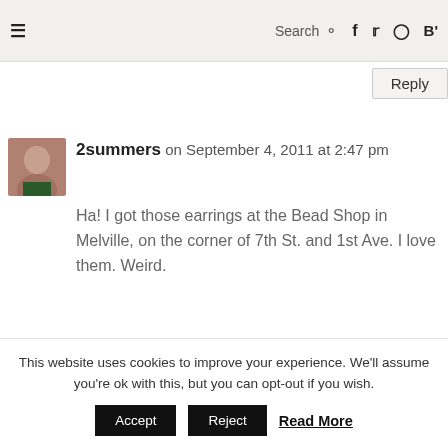≡  Search  f  twitter  instagram  B'
Reply
2summers on September 4, 2011 at 2:47 pm
Ha! I got those earrings at the Bead Shop in Melville, on the corner of 7th St. and 1st Ave. I love them. Weird.
Reply
thirdeyemom on September 4, 2011 at 3:09 pm
This website uses cookies to improve your experience. We'll assume you're ok with this, but you can opt-out if you wish.
Accept  Reject  Read More